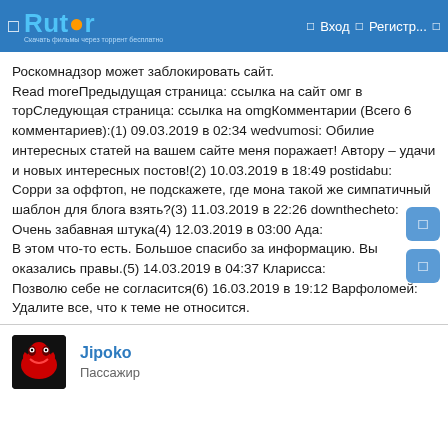Rutor — Вход — Регистр...
Роскомнадзор может заблокировать сайт. Read moreПредыдущая страница: ссылка на сайт омг в торСледующая страница: ссылка на omgКомментарии (Всего 6 комментариев):(1) 09.03.2019 в 02:34 wedvumosi: Обилие интересных статей на вашем сайте меня поражает! Автору – удачи и новых интересных постов!(2) 10.03.2019 в 18:49 postidabu: Сорри за оффтоп, не подскажете, где мона такой же симпатичный шаблон для блога взять?(3) 11.03.2019 в 22:26 downthecheto: Очень забавная штука(4) 12.03.2019 в 03:00 Ада: В этом что-то есть. Большое спасибо за информацию. Вы оказались правы.(5) 14.03.2019 в 04:37 Кларисса: Позволю себе не согласится(6) 16.03.2019 в 19:12 Варфоломей: Удалите все, что к теме не относится.
Jipoko
Пассажир